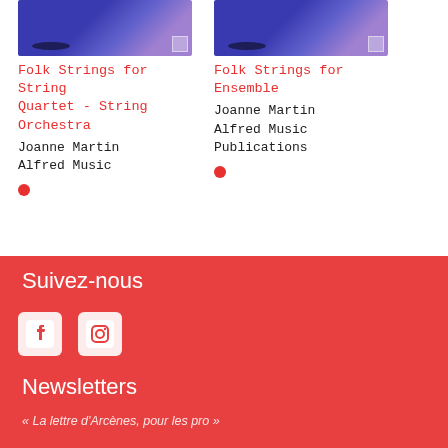[Figure (other): Album cover for Folk Strings for String Quartet - String Orchestra with blue/purple abstract design and QR code]
Folk Strings for String Quartet - String Orchestra
Joanne Martin
Alfred Music
[Figure (other): Album cover for Folk Strings for Ensemble with blue/purple abstract design and QR code]
Folk Strings for Ensemble
Joanne Martin
Alfred Music Publications
1  2  >
Suivez-nous
[Figure (other): Facebook and Instagram social media icons]
Newsletters
« La lettre d'Arcènes, pour les pro »